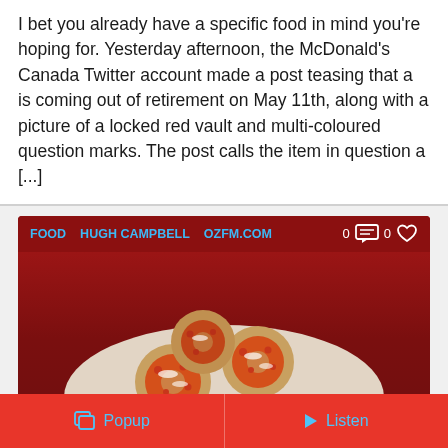I bet you already have a specific food in mind you're hoping for. Yesterday afternoon, the McDonald's Canada Twitter account made a post teasing that a is coming out of retirement on May 11th, along with a picture of a locked red vault and multi-coloured question marks. The post calls the item in question a [...]
[Figure (screenshot): Card with dark red background showing food article. Tags: FOOD, HUGH CAMPBELL, OZFM.COM. Comment icon with 0, heart icon with 0. Photo of bagel bites on plate overlaid with title text: HUGH: WOMAN SUES BAGEL BITES FOR CHEESE FRAUD]
Popup  Listen